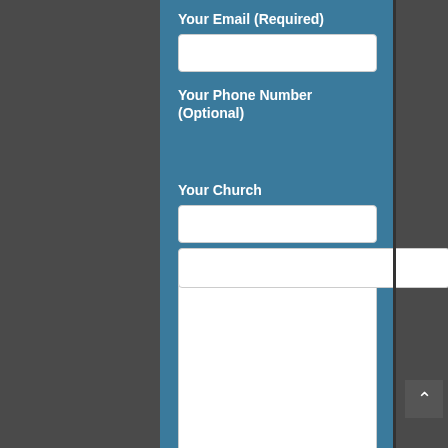Your Email (Required)
Your Phone Number (Optional)
Your Church
Your Message